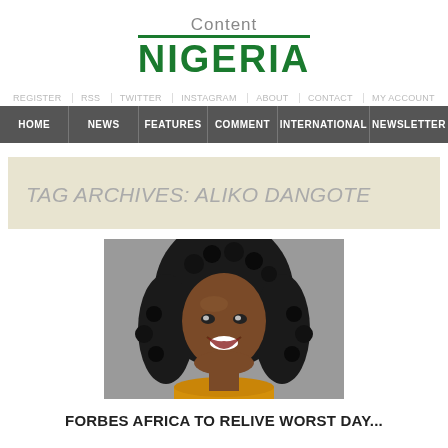[Figure (logo): Content Nigeria logo with 'Content' in grey above and 'NIGERIA' in bold green below with a green top border line]
REGISTER   RSS   TWITTER   INSTAGRAM   ABOUT   CONTACT   MY ACCOUNT
HOME   NEWS   FEATURES   COMMENT   INTERNATIONAL   NEWSLETTER
TAG ARCHIVES: ALIKO DANGOTE
[Figure (photo): A smiling Black woman with long curly dark hair, wearing a yellow top, photographed against a grey background]
FORBES AFRICA TO RELIVE WORST DAY...